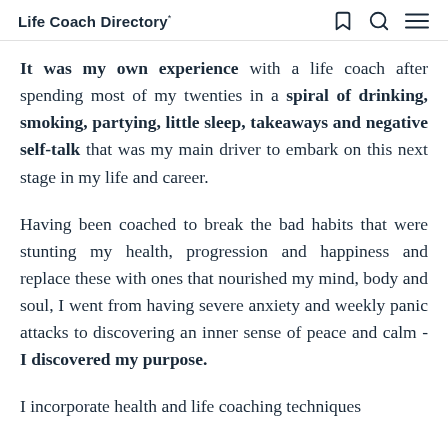Life Coach Directory
It was my own experience with a life coach after spending most of my twenties in a spiral of drinking, smoking, partying, little sleep, takeaways and negative self-talk that was my main driver to embark on this next stage in my life and career.
Having been coached to break the bad habits that were stunting my health, progression and happiness and replace these with ones that nourished my mind, body and soul, I went from having severe anxiety and weekly panic attacks to discovering an inner sense of peace and calm - I discovered my purpose.
I incorporate health and life coaching techniques